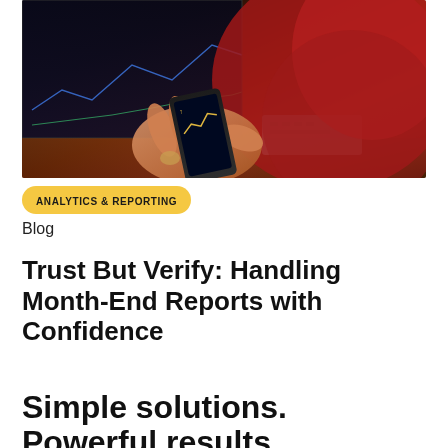[Figure (photo): Person in red sweater holding a smartphone with a financial chart app, with a computer monitor showing stock charts in the background on a desk]
ANALYTICS & REPORTING
Blog
Trust But Verify: Handling Month-End Reports with Confidence
Simple solutions. Powerful results. Seamlessly